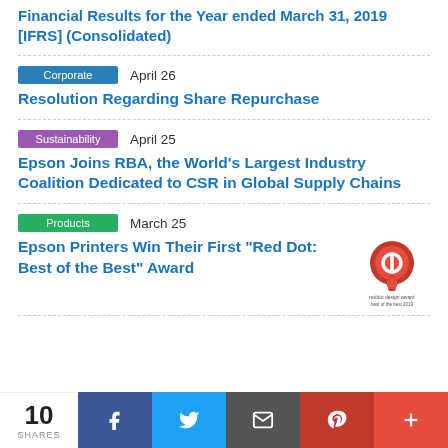Financial Results for the Year ended March 31, 2019 [IFRS] (Consolidated)
Corporate  April 26
Resolution Regarding Share Repurchase
Sustainability  April 25
Epson Joins RBA, the World's Largest Industry Coalition Dedicated to CSR in Global Supply Chains
Products  March 25
Epson Printers Win Their First "Red Dot: Best of the Best" Award
[Figure (logo): Red Dot design award best of the best 2019 logo]
10 SHARES  [Facebook] [Twitter] [Email] [Pinterest] [More]